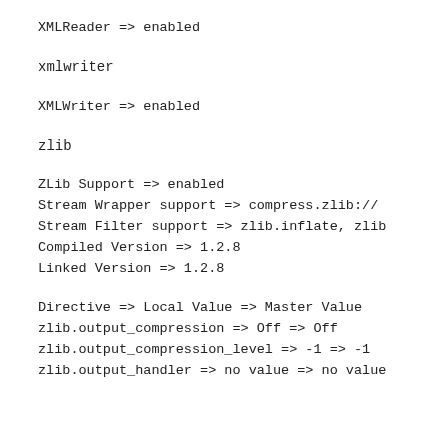XMLReader => enabled
xmlwriter
XMLWriter => enabled
zlib
ZLib Support => enabled
Stream Wrapper support => compress.zlib://
Stream Filter support => zlib.inflate, zlib
Compiled Version => 1.2.8
Linked Version => 1.2.8
Directive => Local Value => Master Value
zlib.output_compression => Off => Off
zlib.output_compression_level => -1 => -1
zlib.output_handler => no value => no value